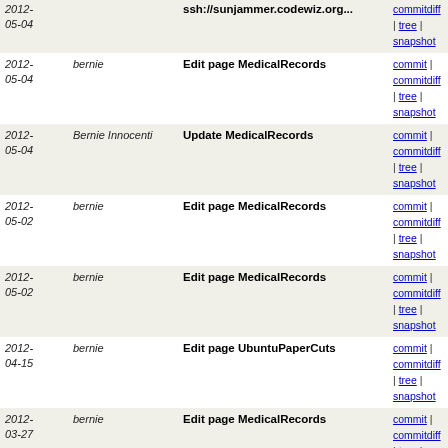| Date | Author | Description | Links |
| --- | --- | --- | --- |
| 2012-05-04 |  | ssh://sunjammer.codewiz.org... | commit | commitdiff | tree | snapshot |
| 2012-05-04 | bernie | Edit page MedicalRecords | commit | commitdiff | tree | snapshot |
| 2012-05-04 | Bernie Innocenti | Update MedicalRecords | commit | commitdiff | tree | snapshot |
| 2012-05-02 | bernie | Edit page MedicalRecords | commit | commitdiff | tree | snapshot |
| 2012-05-02 | bernie | Edit page MedicalRecords | commit | commitdiff | tree | snapshot |
| 2012-04-15 | bernie | Edit page UbuntuPaperCuts | commit | commitdiff | tree | snapshot |
| 2012-03-27 | bernie | Edit page MedicalRecords | commit | commitdiff | tree | snapshot |
| 2012-03-27 | bernie | Edit page MedicalRecords | commit | commitdiff | tree | snapshot |
| 2012-03-17 | bernie | Edit page MicrosoftTactics | commit | commitdiff | tree | snapshot |
| 2012-03-12 | bernie | Edit page MicrosoftTactics | commit | commitdiff | tree | snapshot |
| 2012-03-09 | bernie | Edit page FrontPage | commit | commitdiff | tree | snapshot |